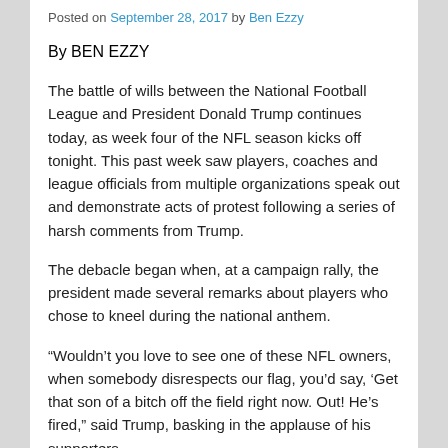Posted on September 28, 2017 by Ben Ezzy
By BEN EZZY
The battle of wills between the National Football League and President Donald Trump continues today, as week four of the NFL season kicks off tonight. This past week saw players, coaches and league officials from multiple organizations speak out and demonstrate acts of protest following a series of harsh comments from Trump.
The debacle began when, at a campaign rally, the president made several remarks about players who chose to kneel during the national anthem.
“Wouldn’t you love to see one of these NFL owners, when somebody disrespects our flag, you’d say, ‘Get that son of a bitch off the field right now. Out! He’s fired,” said Trump, basking in the applause of his supporters.
What was once a personal protest by a single player,